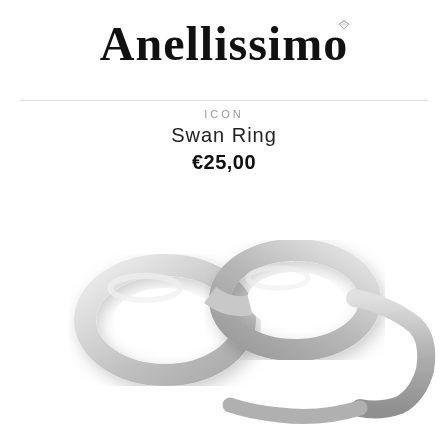Anellissimo
ICON
Swan Ring
€25,00
[Figure (photo): A silver infinity-symbol ring photographed at an angle on a white background, showing a polished sterling silver band shaped into a figure-eight / infinity loop design.]